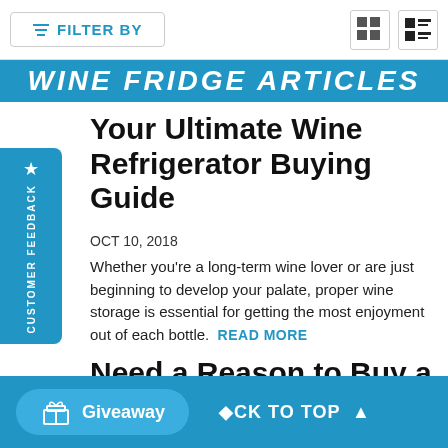FILTER BY
WINE FRIDGE ARTICLES
Your Ultimate Wine Refrigerator Buying Guide
OCT 10, 2018
Whether you're a long-term wine lover or are just beginning to develop your palate, proper wine storage is essential for getting the most enjoyment out of each bottle.  READ MORE
Need a Reason to Buy a Wine Cooler? We Can Give You Nine
r the "it" appliance to have
Giveaway
CK TO TOP ▲